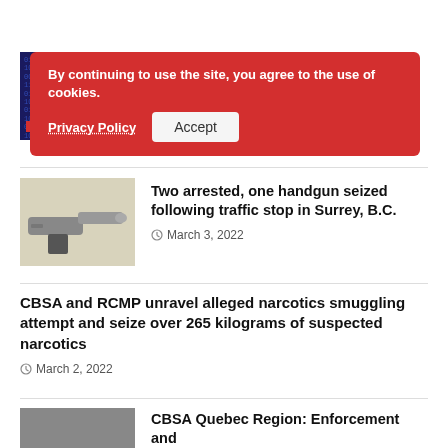[Figure (photo): Cyber crime themed image with blue matrix-style digits and red CYBER CRIME label]
By continuing to use the site, you agree to the use of cookies.
Privacy Policy   Accept
March 29, 2022
[Figure (photo): Photo of a silver handgun on a light background]
Two arrested, one handgun seized following traffic stop in Surrey, B.C.
March 3, 2022
CBSA and RCMP unravel alleged narcotics smuggling attempt and seize over 265 kilograms of suspected narcotics
March 2, 2022
[Figure (photo): Partial image at bottom, dark/grey toned photo thumbnail]
CBSA Quebec Region: Enforcement and